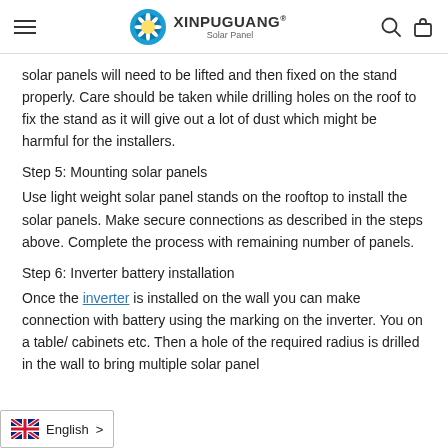XINPUGUANG Solar Panel
solar panels will need to be lifted and then fixed on the stand properly. Care should be taken while drilling holes on the roof to fix the stand as it will give out a lot of dust which might be harmful for the installers.
Step 5: Mounting solar panels
Use light weight solar panel stands on the rooftop to install the solar panels. Make secure connections as described in the steps above. Complete the process with remaining number of panels.
Step 6: Inverter battery installation
Once the inverter is installed on the wall you can make connection with battery using the marking on the inverter. You on a table/ cabinets etc. Then a hole of the required radius is drilled in the wall to bring multiple solar panel